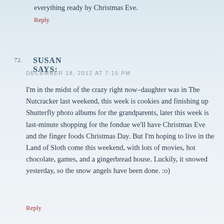everything ready by Christmas Eve.
Reply
SUSAN SAYS:
DECEMBER 18, 2012 AT 7:15 PM
I'm in the midst of the crazy right now–daughter was in The Nutcracker last weekend, this week is cookies and finishing up Shutterfly photo albums for the grandparents, later this week is last-minute shopping for the fondue we'll have Christmas Eve and the finger foods Christmas Day. But I'm hoping to live in the Land of Sloth come this weekend, with lots of movies, hot chocolate, games, and a gingerbread house. Luckily, it snowed yesterday, so the snow angels have been done. :o)
Reply